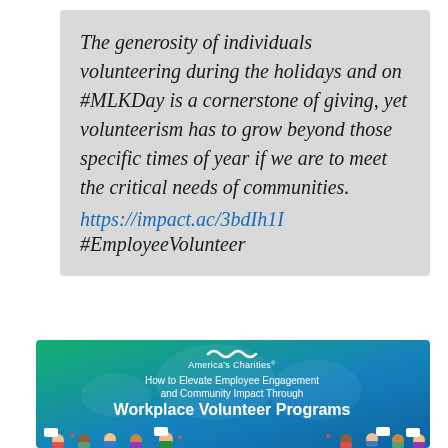The generosity of individuals volunteering during the holidays and on #MLKDay is a cornerstone of giving, yet volunteerism has to grow beyond those specific times of year if we are to meet the critical needs of communities.
https://impact.ac/3bdIh1I
#EmployeeVolunteer
[Figure (infographic): America's Charities banner: How to Elevate Employee Engagement and Community Impact Through Workplace Volunteer Programs, with illustrated diverse people at the bottom]